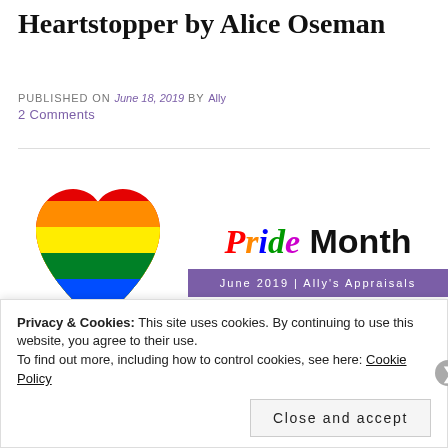Heartstopper by Alice Oseman
PUBLISHED ON June 18, 2019 by Ally
2 Comments
[Figure (illustration): Rainbow pride heart and 'Pride Month / June 2019 | Ally's Appraisals' banner graphic]
[Figure (illustration): Book cover thumbnail for Heartstopper]
Heartstopper
Privacy & Cookies: This site uses cookies. By continuing to use this website, you agree to their use.
To find out more, including how to control cookies, see here: Cookie Policy
Close and accept